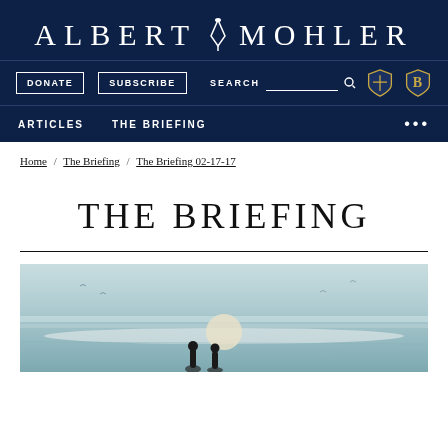ALBERT MOHLER
DONATE  SUBSCRIBE  SEARCH
ARTICLES  THE BRIEFING
Home / The Briefing / The Briefing 02-17-17
THE BRIEFING
[Figure (photo): Scenic beach/sea landscape with two figures in silhouette and soft teal sky and water tones]